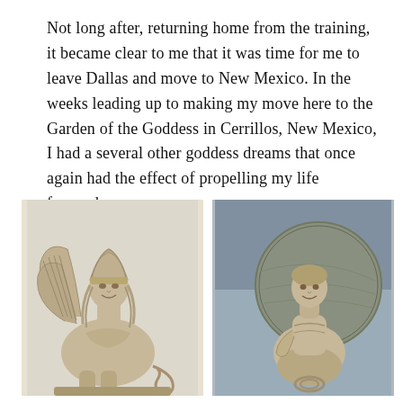Not long after, returning home from the training, it became clear to me that it was time for me to leave Dallas and move to New Mexico. In the weeks leading up to making my move here to the Garden of the Goddess in Cerrillos, New Mexico, I had a several other goddess dreams that once again had the effect of propelling my life forward.
[Figure (photo): Two ancient sphinx sculptures side by side. Left: a pale stone or bronze sphinx with a woman's face, elaborate headdress, large feathered wings, and a curled tail — a Greek or Etruscan archaic sphinx. Right: a painted terracotta or stone sphinx with a smiling archaic face, disc (wheel) behind the figure, seated pose — another archaic Greek sphinx.]